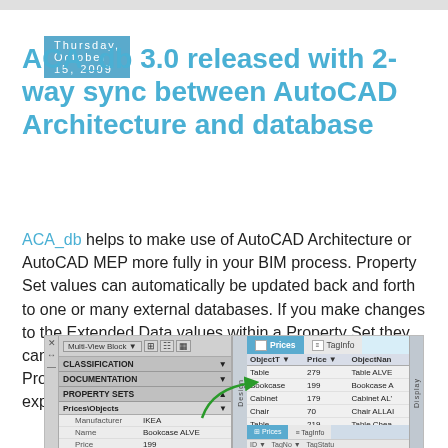Thursday, October 15, 2009
ACA_db 3.0 released with 2-way sync between AutoCAD Architecture and database
ACA_db helps to make use of AutoCAD Architecture or AutoCAD MEP more fully in your BIM process. Property Set values can automatically be updated back and forth to one or many external databases. If you make changes to the Extended Data values within a Property Set they can be synchronized back to the external database. Any Property in a Property Set Definition (PSD) can be exported and all editable Properties can be imported.
[Figure (screenshot): Screenshot of AutoCAD Architecture interface showing property sets panel on the left with CLASSIFICATION, DOCUMENTATION, PROPERTY SETS sections and a Prices\Objects sub-section with Manufacturer: IKEA, Name: Bookcase ALVE, Price: 199. On the right is a Prices data grid with columns ObjectType, Price, ObjectName showing rows for Table 279, Bookcase 199, Cabinet 179, Chair 70, Table 219, Chair 49. A green arrow points from the property panel to the price data grid. TagInfo tab is also visible.]